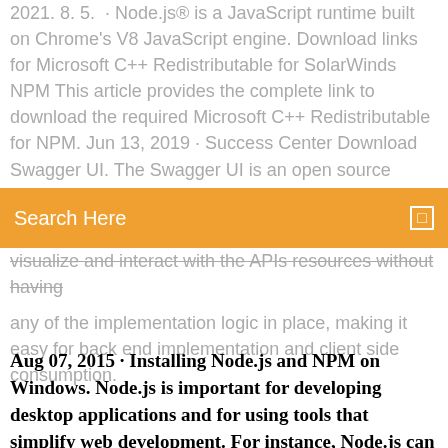2021. 8. 5. · Node.js® is a JavaScript runtime built on Chrome's V8 JavaScript engine. Download links for Microsoft C++ Redistributable for SolarWinds NPM This article provides the complete link to download the required Microsoft C++ Redistributable for NPM. Jun 13, 2019 · Success Center Download Swagger UI. The Swagger UI is an open source
[Figure (screenshot): Orange search bar with text 'Search Here' and a small icon on the right]
visualize and interact with the APIs resources without having any of the implementation logic in place, making it easy for back end implementation and client side consumption.
Aug 07, 2015 · Installing Node.js and NPM on Windows. Node.js is important for developing desktop applications and for using tools that simplify web development. For instance, Node.js can help you quickly convert CoffeeScript to JavaScript, SASS to CSS, and shrink the size of your files. NPM is the package manager that lets you install Node.js modules.